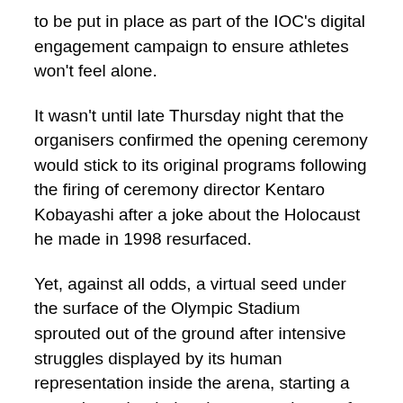to be put in place as part of the IOC's digital engagement campaign to ensure athletes won't feel alone.
It wasn't until late Thursday night that the organisers confirmed the opening ceremony would stick to its original programs following the firing of ceremony director Kentaro Kobayashi after a joke about the Holocaust he made in 1998 resurfaced.
Yet, against all odds, a virtual seed under the surface of the Olympic Stadium sprouted out of the ground after intensive struggles displayed by its human representation inside the arena, starting a countdown that led to the eventual start of the spectacle.
IOC president Thomas Bach said earlier at a press conference that the Olympic Games are capable of "getting